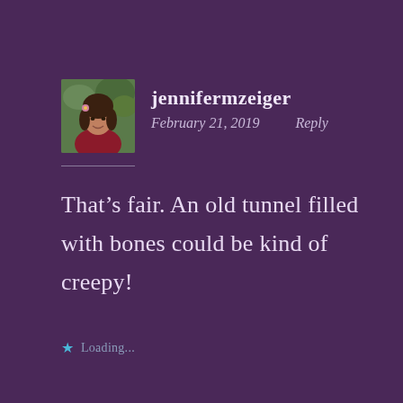[Figure (photo): Small square avatar photo of a woman in a red top, with outdoor background]
jennifermzeiger
February 21, 2019   Reply
That’s fair. An old tunnel filled with bones could be kind of creepy!
Loading...